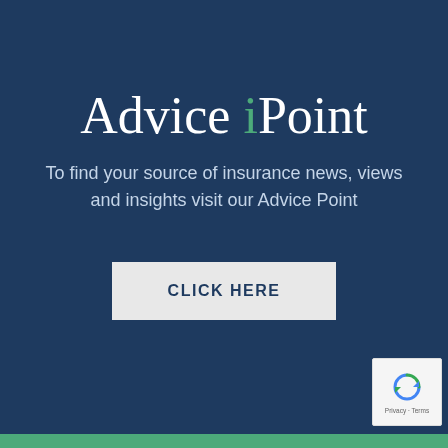Advice iPoint
To find your source of insurance news, views and insights visit our Advice Point
[Figure (other): CLICK HERE button — a light grey rectangle with dark navy bold uppercase text 'CLICK HERE']
[Figure (other): reCAPTCHA badge in bottom-right corner showing recycling-arrow icon and 'Privacy · Terms' text]